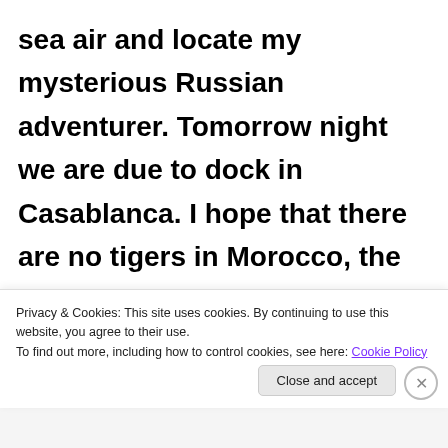sea air and locate my mysterious Russian adventurer. Tomorrow night we are due to dock in Casablanca. I hope that there are no tigers in Morocco, the temptation might be too great an urge to resist.
[Figure (illustration): Rounded rectangle label reading 'AND THIS ONE' with partial text below, resembling a book or tag label]
Privacy & Cookies: This site uses cookies. By continuing to use this website, you agree to their use.
To find out more, including how to control cookies, see here: Cookie Policy